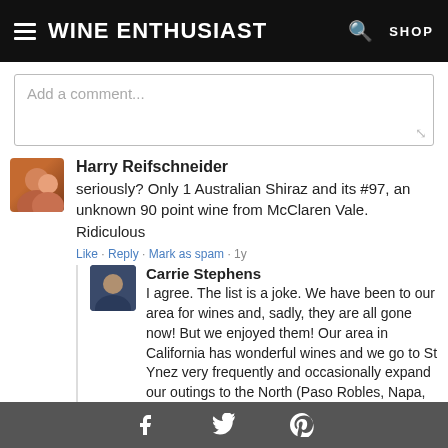Wine Enthusiast  SHOP
Add a comment...
Harry Reifschneider
seriously? Only 1 Australian Shiraz and its #97, an unknown 90 point wine from McClaren Vale. Ridiculous
Like · Reply · Mark as spam · 1y
Carrie Stephens
I agree. The list is a joke. We have been to our area for wines and, sadly, they are all gone now! But we enjoyed them! Our area in California has wonderful wines and we go to St Ynez very frequently and occasionally expand our outings to the North (Paso Robles, Napa, and more often - Santa Ynez. We have also enjoyed a few wines in Temecula.
Facebook  Twitter  Pinterest